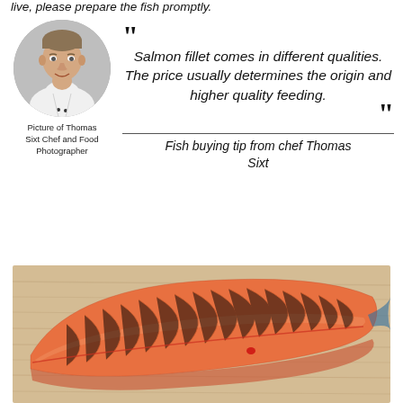live, please prepare the fish promptly.
[Figure (photo): Circular portrait photo of Thomas Sixt, a chef wearing a white chef's uniform, gray background]
Picture of Thomas Sixt Chef and Food Photographer
" Salmon fillet comes in different qualities. The price usually determines the origin and higher quality feeding. "
Fish buying tip from chef Thomas Sixt
[Figure (photo): A large raw salmon fillet placed skin-side down on a wooden cutting board, showing the orange-pink flesh with visible muscle lines]